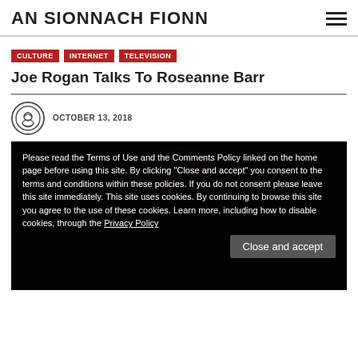AN SIONNACH FIONN
CULTURE
INTERNET
TELEVISION
Joe Rogan Talks To Roseanne Barr
OCTOBER 13, 2018
[Figure (photo): Photo of a person with dark hair against dark background, partially obscured by cookie consent overlay]
Please read the Terms of Use and the Comments Policy linked on the home page before using this site. By clicking "Close and accept" you consent to the terms and conditions within these policies. If you do not consent please leave this site immediately. This site uses cookies. By continuing to browse this site you agree to the use of these cookies. Learn more, including how to disable cookies, through the Privacy Policy